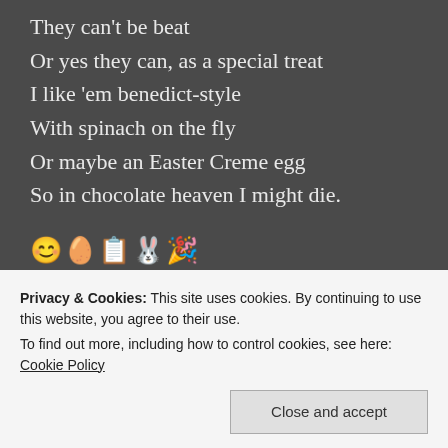They can't be beat
Or yes they can, as a special treat
I like 'em benedict-style
With spinach on the fly
Or maybe an Easter Creme egg
So in chocolate heaven I might die.
😊🥚📋🐰🎉
★ Liked by 2 people
Privacy & Cookies: This site uses cookies. By continuing to use this website, you agree to their use.
To find out more, including how to control cookies, see here: Cookie Policy